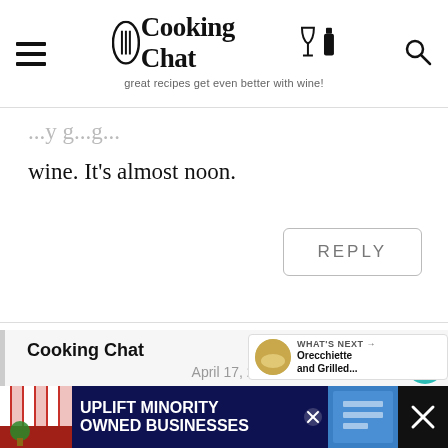Cooking Chat — great recipes get even better with wine!
wine. It's almost noon.
REPLY
Cooking Chat
April 17, 2016 at 3:03 pm
good to hear from a fellow N[ew] Englander!
[Figure (infographic): Ad banner: UPLIFT MINORITY OWNED BUSINESSES with close button and store graphic]